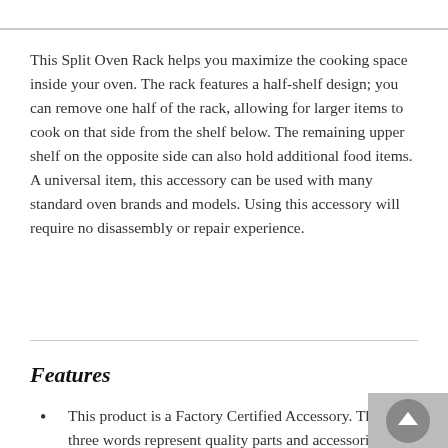This Split Oven Rack helps you maximize the cooking space inside your oven. The rack features a half-shelf design; you can remove one half of the rack, allowing for larger items to cook on that side from the shelf below. The remaining upper shelf on the opposite side can also hold additional food items. A universal item, this accessory can be used with many standard oven brands and models. Using this accessory will require no disassembly or repair experience.
Features
This product is a Factory Certified Accessory. These three words represent quality parts and accessories designed specifically for your appliance. Time tested engineering that meets our strict quality